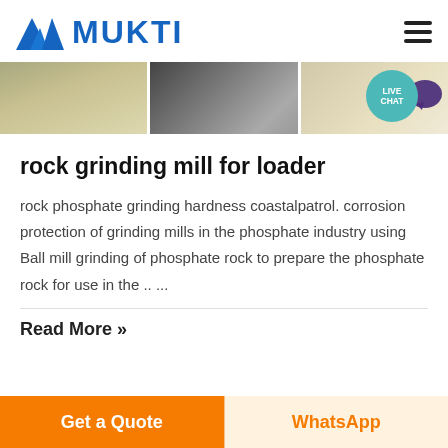MUKTI
[Figure (photo): Three side-by-side images showing mining/grinding mill equipment and materials outdoors]
rock grinding mill for loader
rock phosphate grinding hardness coastalpatrol. corrosion protection of grinding mills in the phosphate industry using Ball mill grinding of phosphate rock to prepare the phosphate rock for use in the .. ...
Read More »
Get a Quote  WhatsApp